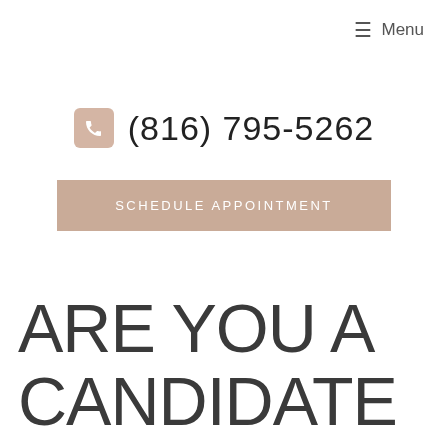≡ Menu
(816) 795-5262
SCHEDULE APPOINTMENT
ARE YOU A CANDIDATE FOR COOLSCULPTING?